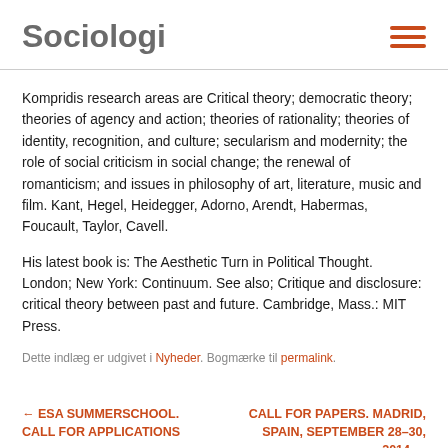Sociologi
Kompridis research areas are Critical theory; democratic theory; theories of agency and action; theories of rationality; theories of identity, recognition, and culture; secularism and modernity; the role of social criticism in social change; the renewal of romanticism; and issues in philosophy of art, literature, music and film. Kant, Hegel, Heidegger, Adorno, Arendt, Habermas, Foucault, Taylor, Cavell.
His latest book is: The Aesthetic Turn in Political Thought. London; New York: Continuum. See also; Critique and disclosure: critical theory between past and future. Cambridge, Mass.: MIT Press.
Dette indlæg er udgivet i Nyheder. Bogmærke til permalink.
← ESA SUMMERSCHOOL. CALL FOR APPLICATIONS
CALL FOR PAPERS. MADRID, SPAIN, SEPTEMBER 28–30, 2014 →